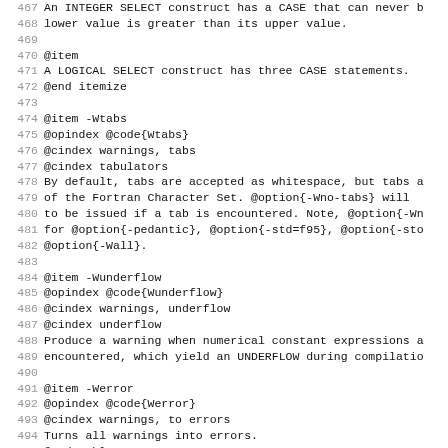467 An INTEGER SELECT construct has a CASE that can never b
468 lower value is greater than its upper value.
469
470 @item
471 A LOGICAL SELECT construct has three CASE statements.
472 @end itemize
473
474 @item -Wtabs
475 @opindex @code{Wtabs}
476 @cindex warnings, tabs
477 @cindex tabulators
478 By default, tabs are accepted as whitespace, but tabs a
479 of the Fortran Character Set.  @option{-Wno-tabs} will
480 to be issued if a tab is encountered. Note, @option{-Wn
481 for @option{-pedantic}, @option{-std=f95}, @option{-sto
482 @option{-Wall}.
483
484 @item -Wunderflow
485 @opindex @code{Wunderflow}
486 @cindex warnings, underflow
487 @cindex underflow
488 Produce a warning when numerical constant expressions a
489 encountered, which yield an UNDERFLOW during compilatio
490
491 @item -Werror
492 @opindex @code{Werror}
493 @cindex warnings, to errors
494 Turns all warnings into errors.
495 @end table
496
497 @xref{Error and Warning Options,,Options to Request or
498 Warnings, gcc,Using the GNU Compiler Collection (GCC),